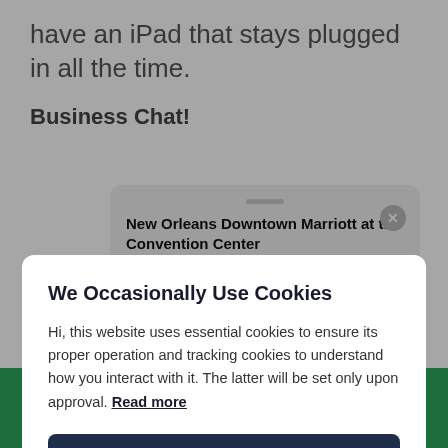have an iPad that stays plugged in all the time.
Business Chat!
[Figure (screenshot): Screenshot of a chat card for New Orleans Downtown Marriott at the Convention Center with a close button]
We Occasionally Use Cookies
Hi, this website uses essential cookies to ensure its proper operation and tracking cookies to understand how you interact with it. The latter will be set only upon approval. Read more
Accept
Settings